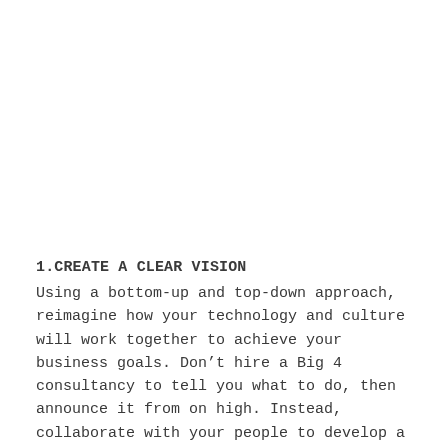1.CREATE A CLEAR VISION
Using a bottom-up and top-down approach, reimagine how your technology and culture will work together to achieve your business goals. Don't hire a Big 4 consultancy to tell you what to do, then announce it from on high. Instead, collaborate with your people to develop a clear vision of what your new way of working will look like.